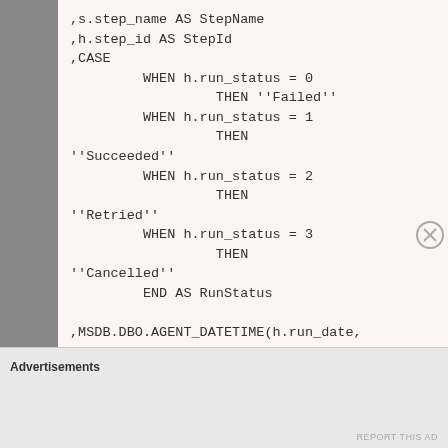,s.step_name AS StepName
,h.step_id AS StepId
,CASE
    WHEN h.run_status = 0
        THEN ''Failed''
    WHEN h.run_status = 1
        THEN
''Succeeded''
    WHEN h.run_status = 2
        THEN
''Retried''
    WHEN h.run_status = 3
        THEN
''Cancelled''
    END AS RunStatus

,MSDB.DBO.AGENT_DATETIME(h.run_date,
h.run_time) AS RunTime

,STUFF(STUFF(STUFF(RIGHT(REPLICATE(''0''
', 8) + CAST(h.run_duration AS
Advertisements